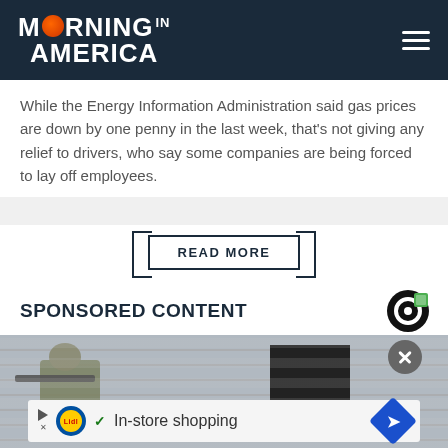MORNING in AMERICA
While the Energy Information Administration said gas prices are down by one penny in the last week, that's not giving any relief to drivers, who say some companies are being forced to lay off employees.
READ MORE
SPONSORED CONTENT
[Figure (photo): Soldier in military gear aiming a weapon near a brick building with a dark doorway]
In-store shopping